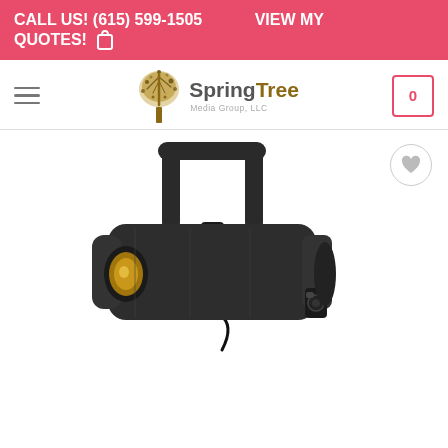CALL US! (615) 599-1505   VIEW MY QUOTES! 🛍
[Figure (logo): SpringTree Media Group, LLC logo with tree illustration]
[Figure (photo): Black stage/theatrical ellipsoidal spotlight fixture with handle and C-clamp mount, showing golden LED visible through front lens opening]